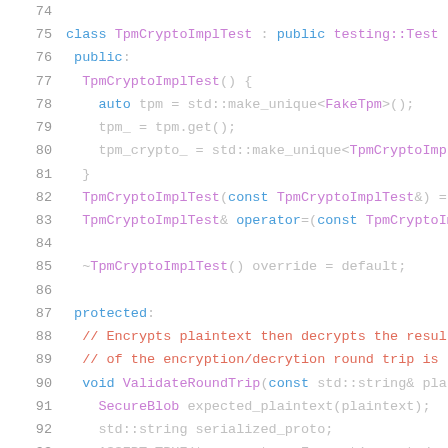[Figure (screenshot): C++ source code showing TpmCryptoImplTest class definition, lines 74-95, with syntax highlighting. Line numbers in grey on left, keywords in blue, class/function names in purple, comments in red-orange.]